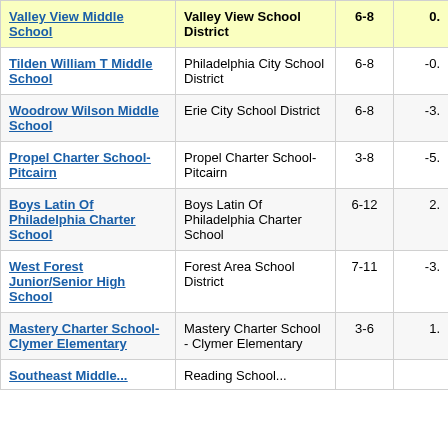| School | District | Grades | Score |
| --- | --- | --- | --- |
| Valley View Middle School | Valley View School District | 6-8 | 0. |
| Tilden William T Middle School | Philadelphia City School District | 6-8 | -0. |
| Woodrow Wilson Middle School | Erie City School District | 6-8 | -3. |
| Propel Charter School-Pitcairn | Propel Charter School-Pitcairn | 3-8 | -5. |
| Boys Latin Of Philadelphia Charter School | Boys Latin Of Philadelphia Charter School | 6-12 | 2. |
| West Forest Junior/Senior High School | Forest Area School District | 7-11 | -3. |
| Mastery Charter School-Clymer Elementary | Mastery Charter School - Clymer Elementary | 3-6 | 1. |
| Southeast Middle... | Reading School... |  |  |